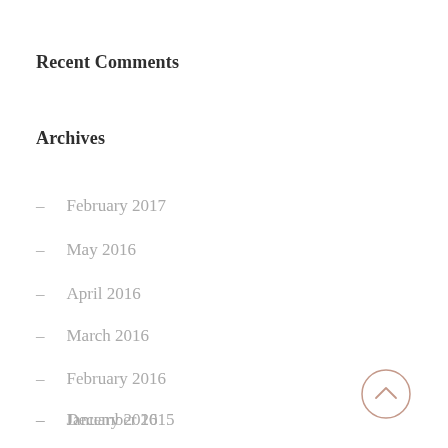Recent Comments
Archives
– February 2017
– May 2016
– April 2016
– March 2016
– February 2016
– January 2016
– December 2015